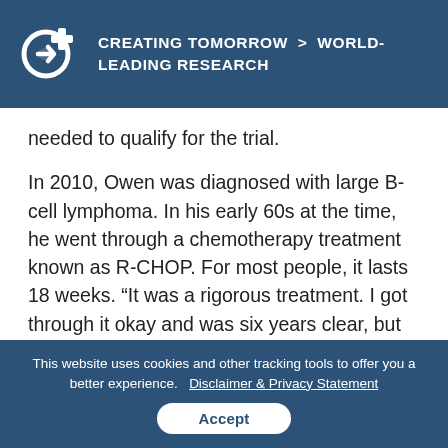CREATING TOMORROW > WORLD-LEADING RESEARCH
needed to qualify for the trial.
In 2010, Owen was diagnosed with large B-cell lymphoma. In his early 60s at the time, he went through a chemotherapy treatment known as R-CHOP. For most people, it lasts 18 weeks. “It was a rigorous treatment. I got through it okay and was six years clear, but then it came back — the lymphoma started in 2016
This website uses cookies and other tracking tools to offer you a better experience.  Disclaimer & Privacy Statement
Accept